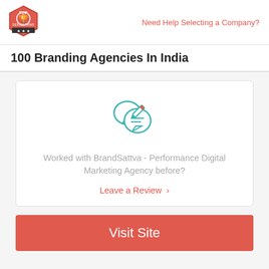Need Help Selecting a Company?
100 Branding Agencies In India
[Figure (illustration): Teal icon of two overlapping speech/chat bubbles with horizontal lines and a pencil, representing leaving a review]
Worked with BrandSattva - Performance Digital Marketing Agency before?
Leave a Review  >
Visit Site